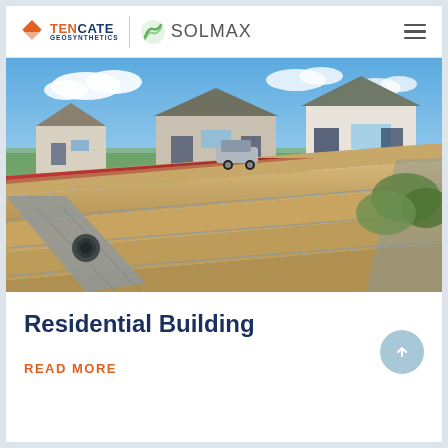TenCate Geosynthetics | Solmax
[Figure (illustration): 3D cutaway engineering illustration showing a geosynthetic-reinforced retaining wall system with terraced soil layers, geogrid layers visible in cross-section, drainage pipe, red road surface at top, and residential houses with cars in background under blue sky.]
Residential Building
READ MORE